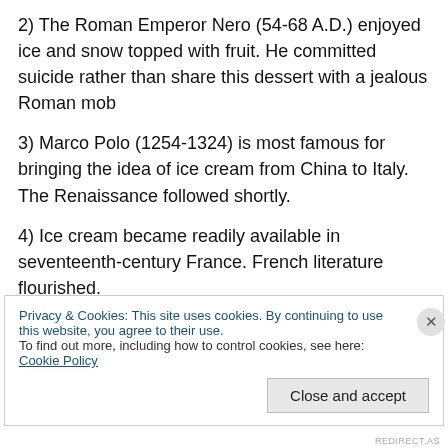2) The Roman Emperor Nero (54-68 A.D.) enjoyed ice and snow topped with fruit. He committed suicide rather than share this dessert with a jealous Roman mob
3) Marco Polo (1254-1324) is most famous for bringing the idea of ice cream from China to Italy. The Renaissance followed shortly.
4) Ice cream became readily available in seventeenth-century France. French literature flourished.
5) Ice cream came to America in the 1700s. and caused
Privacy & Cookies: This site uses cookies. By continuing to use this website, you agree to their use.
To find out more, including how to control cookies, see here: Cookie Policy
REDIRECT.AS